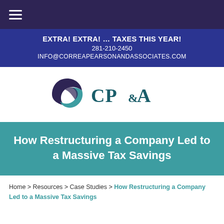EXTRA! EXTRA! ... TAXES THIS YEAR! 281-210-2450 INFO@CORREAPEARSONANDASSOCIATES.COM
[Figure (logo): CP&A (Correa Pearson and Associates) logo with circular swoosh icon in teal and purple, followed by CP&A text in dark teal]
How Restructuring a Company Led to a Massive Tax Savings
Home > Resources > Case Studies > How Restructuring a Company Led to a Massive Tax Savings